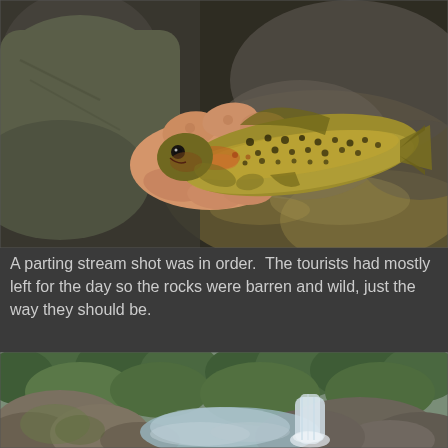[Figure (photo): A hand holding a brown trout fish with dark spots over a rocky stream background. The fish is golden-olive colored with orange markings near the belly.]
A parting stream shot was in order.  The tourists had mostly left for the day so the rocks were barren and wild, just the way they should be.
[Figure (photo): A scenic rocky mountain stream with a small waterfall, large boulders, and surrounding green forest trees. The scene looks wild and natural.]